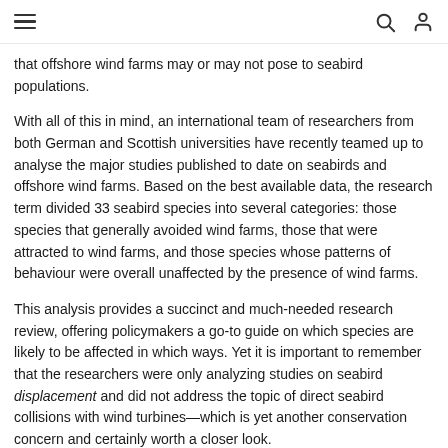[hamburger menu icon] [search icon] [user icon]
that offshore wind farms may or may not pose to seabird populations.
With all of this in mind, an international team of researchers from both German and Scottish universities have recently teamed up to analyse the major studies published to date on seabirds and offshore wind farms. Based on the best available data, the research term divided 33 seabird species into several categories: those species that generally avoided wind farms, those that were attracted to wind farms, and those species whose patterns of behaviour were overall unaffected by the presence of wind farms.
This analysis provides a succinct and much-needed research review, offering policymakers a go-to guide on which species are likely to be affected in which ways. Yet it is important to remember that the researchers were only analyzing studies on seabird displacement and did not address the topic of direct seabird collisions with wind turbines—which is yet another conservation concern and certainly worth a closer look.